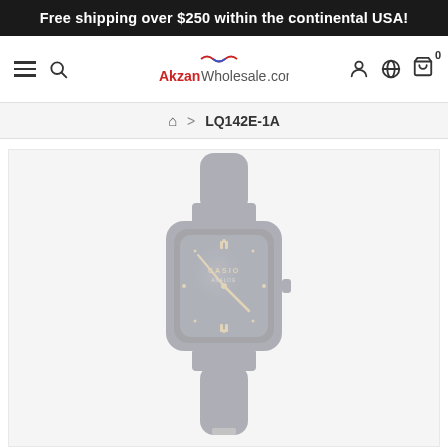Free shipping over $250 within the continental USA!
[Figure (screenshot): Website navigation bar with hamburger menu, search icon, AkzanWholesale.com logo, user account icon, globe icon, and shopping cart with badge showing 0]
🏠 > LQ142E-1A
[Figure (photo): Casio LQ142E-1A analog quartz watch with dark gray/charcoal square-face, rubber band, gold-tone hands and hour markers, shown at an angle with faded/ghosted appearance]